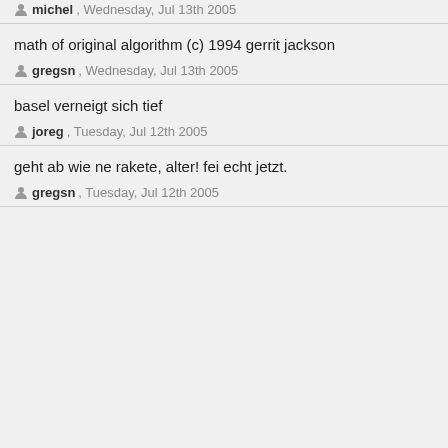↑ michel, Wednesday, Jul 13th 2005
math of original algorithm (c) 1994 gerrit jackson
↑ gregsn, Wednesday, Jul 13th 2005
basel verneigt sich tief
↑ joreg, Tuesday, Jul 12th 2005
geht ab wie ne rakete, alter! fei echt jetzt.
↑ gregsn, Tuesday, Jul 12th 2005